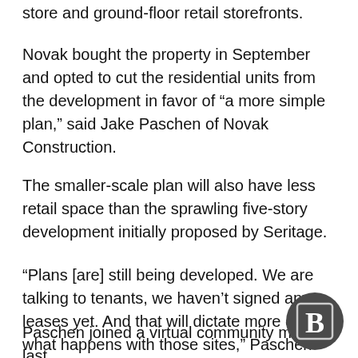store and ground-floor retail storefronts.
Novak bought the property in September and opted to cut the residential units from the development in favor of “a more simple plan,” said Jake Paschen of Novak Construction.
The smaller-scale plan will also have less retail space than the sprawling five-story development initially proposed by Seritage.
“Plans [are] still being developed. We are talking to tenants, we haven’t signed any leases yet. And that will dictate more of what happens with those sites,” Paschen said.
Paschen joined a virtual community meeting last
[Figure (logo): Bisnow logo: letter B in a dark circle badge]